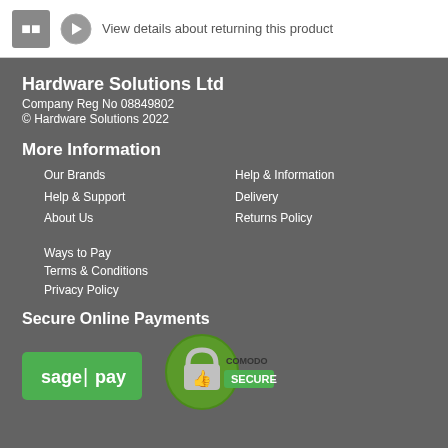View details about returning this product
Hardware Solutions Ltd
Company Reg No 08849802
© Hardware Solutions 2022
More Information
Our Brands
Help & Support
About Us
Help & Information
Delivery
Returns Policy
Ways to Pay
Terms & Conditions
Privacy Policy
Secure Online Payments
[Figure (logo): Sage Pay logo on green background]
[Figure (logo): Comodo Secure logo with padlock and thumbs up]